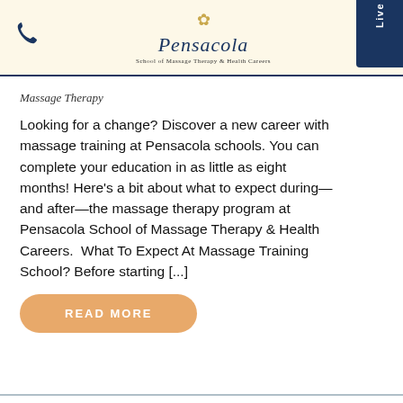Pensacola School of Massage Therapy & Health Careers
Massage Therapy
Looking for a change? Discover a new career with massage training at Pensacola schools. You can complete your education in as little as eight months! Here’s a bit about what to expect during—and after—the massage therapy program at Pensacola School of Massage Therapy & Health Careers.  What To Expect At Massage Training School? Before starting [...]
READ MORE